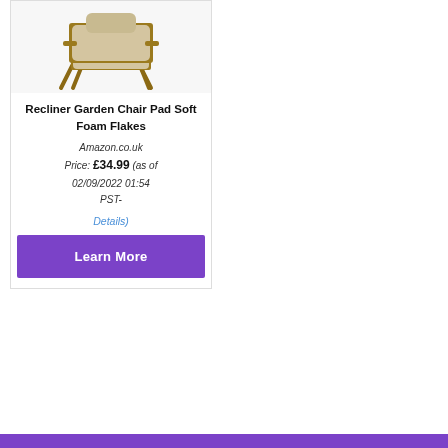[Figure (photo): Product photo of a recliner garden chair with beige/cream padded cushion on wooden frame]
Recliner Garden Chair Pad Soft Foam Flakes
Amazon.co.uk
Price: £34.99 (as of 02/09/2022 01:54 PST-
Details)
Learn More